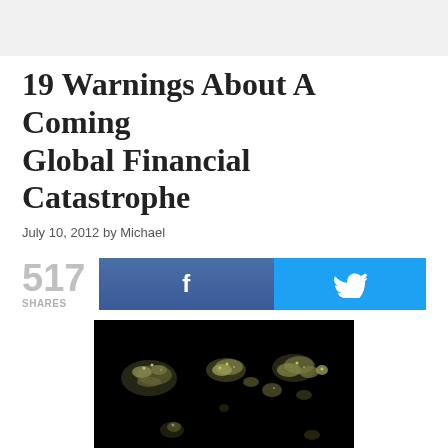19 Warnings About A Coming Global Financial Catastrophe
July 10, 2012 by Michael
517 SHARES
[Figure (map): Night-time satellite image of the world map showing city lights against a black background, with bright clusters visible over North America, Europe, and Asia.]